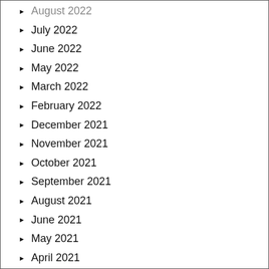August 2022
July 2022
June 2022
May 2022
March 2022
February 2022
December 2021
November 2021
October 2021
September 2021
August 2021
June 2021
May 2021
April 2021